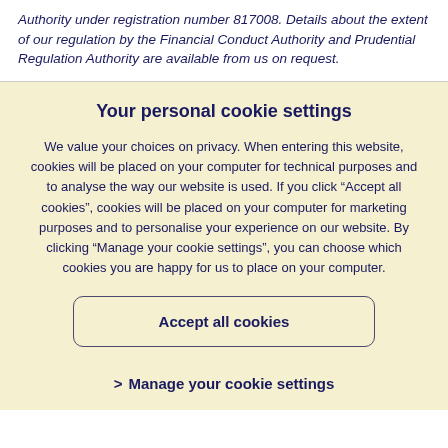Authority under registration number 817008. Details about the extent of our regulation by the Financial Conduct Authority and Prudential Regulation Authority are available from us on request.
Your personal cookie settings
We value your choices on privacy. When entering this website, cookies will be placed on your computer for technical purposes and to analyse the way our website is used. If you click “Accept all cookies”, cookies will be placed on your computer for marketing purposes and to personalise your experience on our website. By clicking “Manage your cookie settings”, you can choose which cookies you are happy for us to place on your computer.
Accept all cookies
> Manage your cookie settings